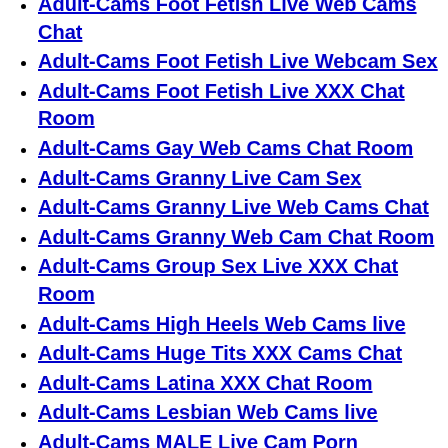Adult-Cams Foot Fetish Live Web Cams Chat
Adult-Cams Foot Fetish Live Webcam Sex
Adult-Cams Foot Fetish Live XXX Chat Room
Adult-Cams Gay Web Cams Chat Room
Adult-Cams Granny Live Cam Sex
Adult-Cams Granny Live Web Cams Chat
Adult-Cams Granny Web Cam Chat Room
Adult-Cams Group Sex Live XXX Chat Room
Adult-Cams High Heels Web Cams live
Adult-Cams Huge Tits XXX Cams Chat
Adult-Cams Latina XXX Chat Room
Adult-Cams Lesbian Web Cams live
Adult-Cams MALE Live Cam Porn
Adult-Cams Mature Sex
Adult-Cams Mature XXX Web Cams Chat
Adult-Cams Mature XXX Web Cams Chat Rooms
Adult-Cams Medium Tits Live Cam
Adult-Cams Medium Tits Live Cam Sex
Adult-Cams Medium Tits Live Web Cams Chat
Adult-Cams MILF Live XXX Webcam
Adult-Cams Muscle XXX Cam Chat Rooms
Adult-Cams Pornstars XXX Web Cams Chat
Adult-Cams Pregnant Live Cam Sex
Adult-Cams Pregnant Live Web Cams Chat